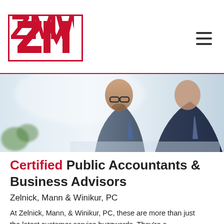[Figure (logo): ZMW logo in red block letters inside a red border rectangle]
[Figure (photo): Two businessmen in suits looking at a document or screen together, blurred office background with green plant visible]
Certified Public Accountants & Business Advisors
Zelnick, Mann & Winikur, PC
At Zelnick, Mann, & Winikur, PC, these are more than just the latest customer service buzzwords. They're a